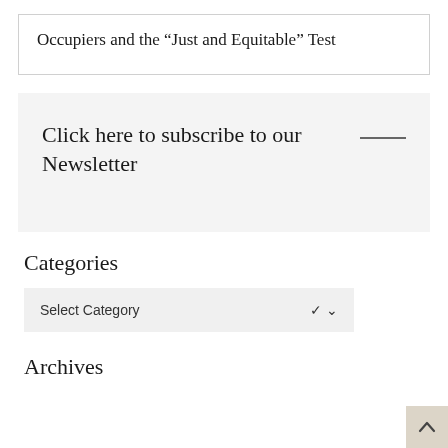Occupiers and the “Just and Equitable” Test
Click here to subscribe to our Newsletter
Categories
Select Category
Archives